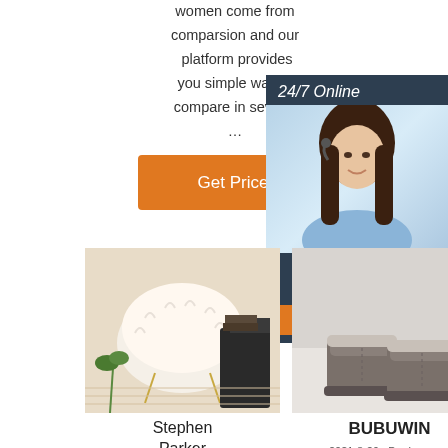women come from comparsion and our platform provides you simple way to compare in several ...
[Figure (other): Orange 'Get Price' button]
[Figure (other): 24/7 Online chat widget with female agent photo, Click here for free chat, QUOTATION button]
[Figure (photo): Stephen Parker (scorpiolvat) - fluffy white fur chair product image]
[Figure (photo): BUBUWIN - grey ankle boots photo, dated 2021-8-29, Daphne new]
[Figure (photo): China Ankle Boot Casual - grey fur rug product image with TOP logo overlay]